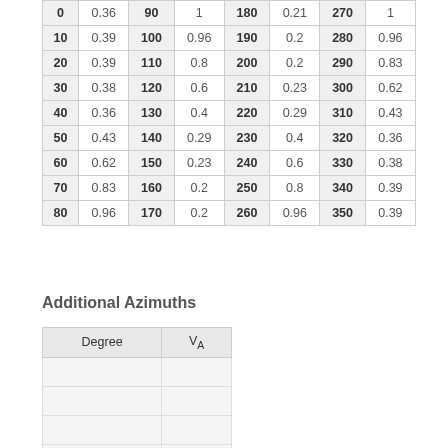| Degree | VA | Degree | VA | Degree | VA | Degree | VA |
| --- | --- | --- | --- | --- | --- | --- | --- |
| 0 | 0.36 | 90 | 1 | 180 | 0.21 | 270 | 1 |
| 10 | 0.39 | 100 | 0.96 | 190 | 0.2 | 280 | 0.96 |
| 20 | 0.39 | 110 | 0.8 | 200 | 0.2 | 290 | 0.83 |
| 30 | 0.38 | 120 | 0.6 | 210 | 0.23 | 300 | 0.62 |
| 40 | 0.36 | 130 | 0.4 | 220 | 0.29 | 310 | 0.43 |
| 50 | 0.43 | 140 | 0.29 | 230 | 0.4 | 320 | 0.36 |
| 60 | 0.62 | 150 | 0.23 | 240 | 0.6 | 330 | 0.38 |
| 70 | 0.83 | 160 | 0.2 | 250 | 0.8 | 340 | 0.39 |
| 80 | 0.96 | 170 | 0.2 | 260 | 0.96 | 350 | 0.39 |
Additional Azimuths
| Degree | VA |
| --- | --- |
|  |
|  |
|  |
|  |